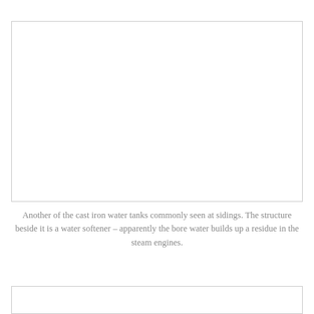[Figure (photo): Cast iron water tank at a siding, with a water softener structure beside it. The image area is blank/white in the scanned page.]
Another of the cast iron water tanks commonly seen at sidings. The structure beside it is a water softener – apparently the bore water builds up a residue in the steam engines.
[Figure (photo): Second photo, partially visible at the bottom of the page — blank/white in the scanned page.]